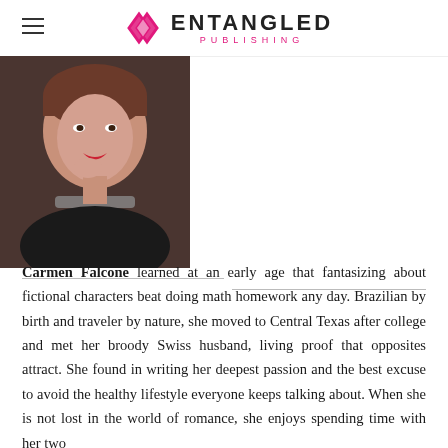ENTANGLED PUBLISHING
[Figure (photo): Portrait photo of Carmen Falcone, a woman with short brown hair, red lipstick, wearing a black top and beaded necklace, resting her chin on her hand.]
Carmen Falcone learned at an early age that fantasizing about fictional characters beat doing math homework any day. Brazilian by birth and traveler by nature, she moved to Central Texas after college and met her broody Swiss husband, living proof that opposites attract. She found in writing her deepest passion and the best excuse to avoid the healthy lifestyle everyone keeps talking about. When she is not lost in the world of romance, she enjoys spending time with her two